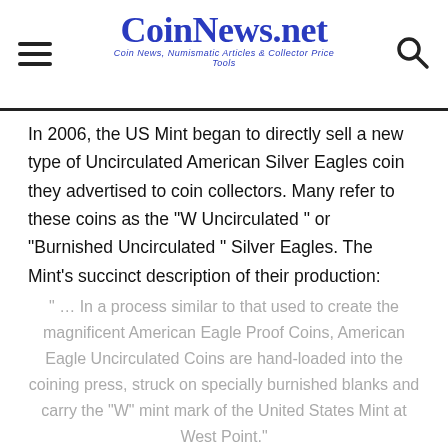CoinNews.net — Coin News, Numismatic Articles & Collector Price Tools
In 2006, the US Mint began to directly sell a new type of Uncirculated American Silver Eagles coin they advertised to coin collectors. Many refer to these coins as the "W Uncirculated " or "Burnished Uncirculated " Silver Eagles. The Mint's succinct description of their production:
" … In a process similar to that used to create the magnificent American Eagle Proof Coins, American Eagle Uncirculated Coins are hand-loaded into the coining press, struck on specially burnished blanks and carry the "W" mint mark of the United States Mint at West Point."